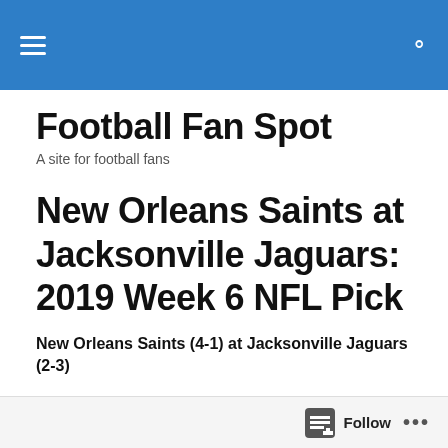Football Fan Spot — navigation bar
Football Fan Spot
A site for football fans
New Orleans Saints at Jacksonville Jaguars: 2019 Week 6 NFL Pick
New Orleans Saints (4-1) at Jacksonville Jaguars (2-3)
Ever since Minshew Mania went to a new level in a Thursday Night win over the Titans in week 3, I've thought
Follow